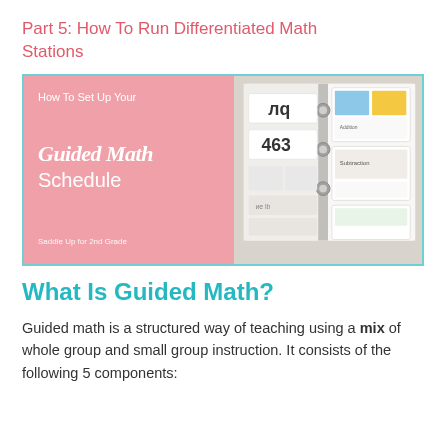Part 5: How To Run Differentiated Math Stations
[Figure (photo): Promotional image with pink background on left showing text 'How To Set Up Your Guided Math Schedule - Saddle Up for 2nd Grade' and photo of a binder with math materials on the right, surrounded by a teal border]
What Is Guided Math?
Guided math is a structured way of teaching using a mix of whole group and small group instruction. It consists of the following 5 components: